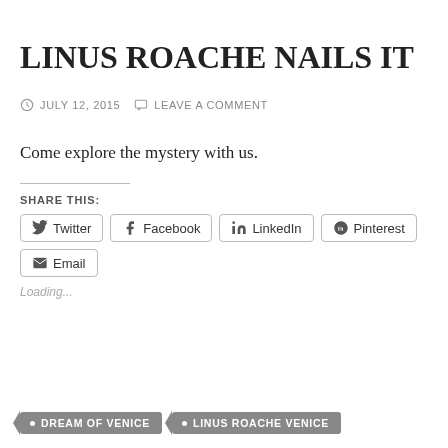LINUS ROACHE NAILS IT
JULY 12, 2015   LEAVE A COMMENT
Come explore the mystery with us.
SHARE THIS:
Twitter   Facebook   LinkedIn   Pinterest   Email
Loading...
• DREAM OF VENICE   • LINUS ROACHE VENICE